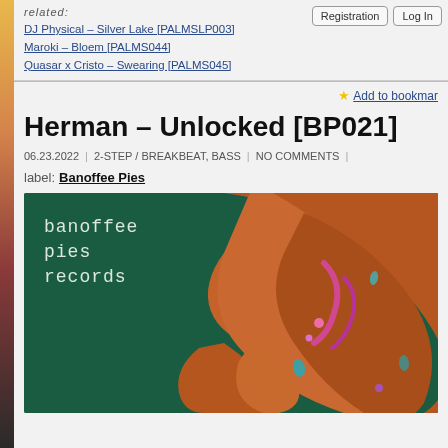related:
DJ Physical – Silver Lake [PALMSLP003]
Maroki – Bloem [PALMS044]
Quasar x Cristo – Swearing [PALMS045]
Herman – Unlocked [BP021]
06.23.2022 | 2-STEP / BREAKBEAT, BASS | NO COMMENTS |
label: Banoffee Pies
[Figure (illustration): Album cover art for Banoffee Pies Records. Dark green background with 'banoffee pies records' text in white monospace font on the left. A large orange/bronze fluid sculpture with pink/magenta iridescent light reflections fills the right side of the image.]